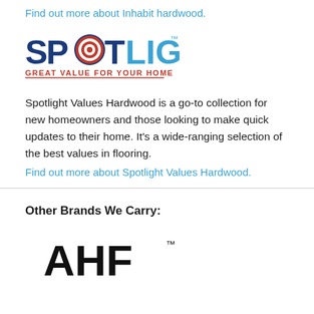Find out more about Inhabit hardwood.
[Figure (logo): Spotlight logo — 'SPOT' in dark blue with orange concentric circle target replacing the O, 'LIGHT' in light blue, superscript TM, and tagline 'GREAT VALUE FOR YOUR HOME' in orange with underline]
Spotlight Values Hardwood is a go-to collection for new homeowners and those looking to make quick updates to their home. It's a wide-ranging selection of the best values in flooring.
Find out more about Spotlight Values Hardwood.
Other Brands We Carry:
[Figure (logo): Partial AHF logo — large bold letters 'AHF' with superscript TM, partially visible at bottom of page]